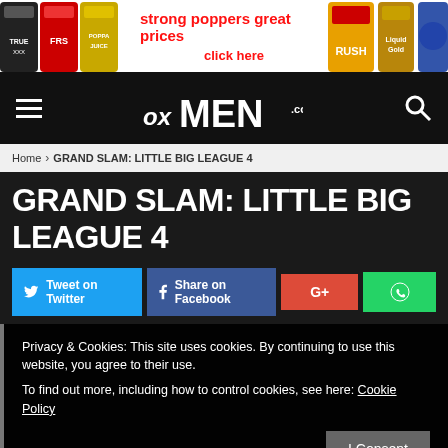[Figure (screenshot): Advertisement banner for poppers products with product bottles on left and right, red text reading 'strong poppers great prices' and 'click here' in center]
[Figure (logo): oxMEN.com website logo in white italic bold text on black navigation bar with hamburger menu on left and search icon on right]
Home › GRAND SLAM: LITTLE BIG LEAGUE 4
GRAND SLAM: LITTLE BIG LEAGUE 4
[Figure (screenshot): Social sharing buttons: Tweet on Twitter (blue), Share on Facebook (dark blue), G+ (red), WhatsApp (green)]
Privacy & Cookies: This site uses cookies. By continuing to use this website, you agree to their use.
To find out more, including how to control cookies, see here: Cookie Policy